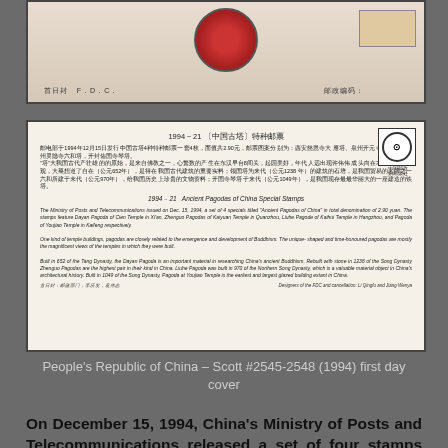[Figure (photo): Top portion of a Chinese First Day Cover (FDC) envelope showing a red circular pagoda vignette on the left, Chinese text '首日封 F.D.C.' at the bottom left, a stamp area at the top right, and '邮政编码:' text at the bottom right.]
[Figure (photo): Back of a Chinese First Day Cover showing bilingual text (Chinese and English) about the 1994-21 Ancient Pagodas of China Special Stamps issue. Includes Chinese text block, English text block describing the stamps featuring Dayan Pagoda, Zhenguo Pagodas of Kaiyuan Temple, Liuhe Pagode, and Pagoda of Youjiao Temple. Bottom text credits designers Li Qingfu and Jiang Wenya.]
People's Republic of China – Scott #2545-2548 (1994) first day cover
On December 15, 1994, China's Ministry of Posts and Telecommunications released a set of four stamps portraying Ancient Pagodas of China. Printed using a